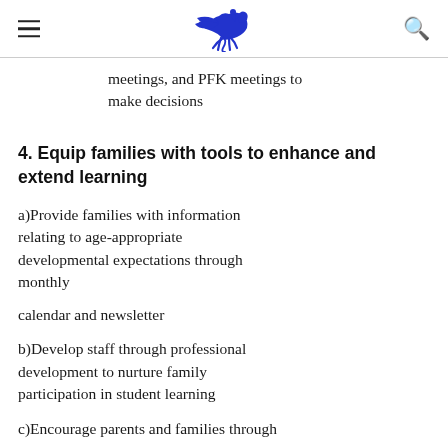[Logo: Pegasus/school logo] [Hamburger menu] [Search icon]
meetings, and PFK meetings to make decisions
4. Equip families with tools to enhance and extend learning
a)Provide families with information relating to age-appropriate developmental expectations through monthly
calendar and newsletter
b)Develop staff through professional development to nurture family participation in student learning
c)Encourage parents and families through...